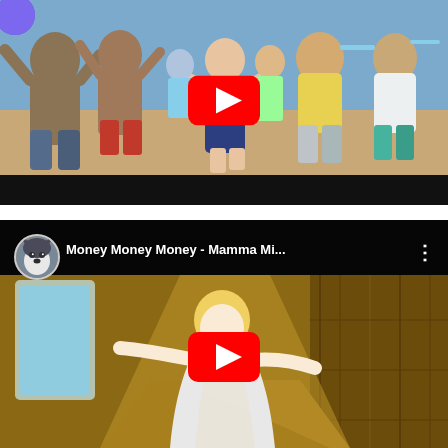[Figure (screenshot): YouTube video thumbnail showing a beach party scene with people dancing/celebrating outdoors in swimwear. A red YouTube play button is centered on the thumbnail. A small circular avatar (blue/purple) is visible in top-left corner.]
[Figure (screenshot): YouTube video thumbnail for 'Money Money Money - Mamma Mi...' showing a woman in white running through a corridor/hallway. A dog avatar (husky/corgi) is shown, video title text is displayed, three-dot menu icon appears on right, and a red YouTube play button is centered.]